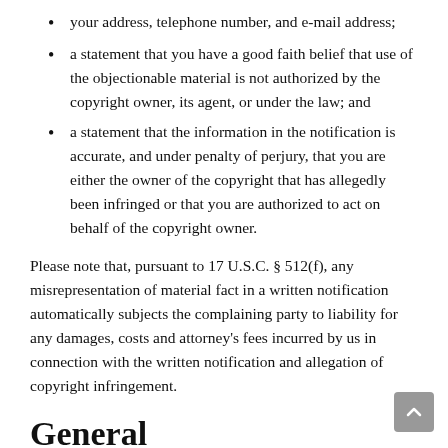your address, telephone number, and e-mail address;
a statement that you have a good faith belief that use of the objectionable material is not authorized by the copyright owner, its agent, or under the law; and
a statement that the information in the notification is accurate, and under penalty of perjury, that you are either the owner of the copyright that has allegedly been infringed or that you are authorized to act on behalf of the copyright owner.
Please note that, pursuant to 17 U.S.C. § 512(f), any misrepresentation of material fact in a written notification automatically subjects the complaining party to liability for any damages, costs and attorney's fees incurred by us in connection with the written notification and allegation of copyright infringement.
General
These Terms are subject to occasional revision, and if we make any substantial changes, we may notify you by sending